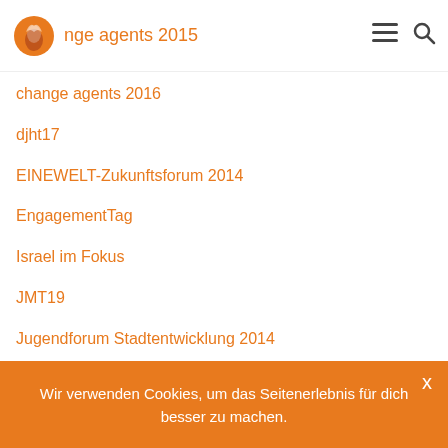change agents 2015
change agents 2016
djht17
EINEWELT-Zukunftsforum 2014
EngagementTag
Israel im Fokus
JMT19
Jugendforum Stadtentwicklung 2014
Jugendforum Stadtentwicklung 2015
Jugendforum Stadtentwicklung 2016
Jugendforum Stadtentwicklung 2016/2
Jugendforum Stadtentwicklung 2017
Wir verwenden Cookies, um das Seitenerlebnis für dich besser zu machen.